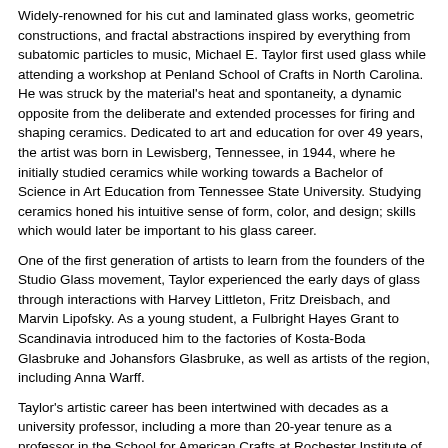Widely-renowned for his cut and laminated glass works, geometric constructions, and fractal abstractions inspired by everything from subatomic particles to music, Michael E. Taylor first used glass while attending a workshop at Penland School of Crafts in North Carolina. He was struck by the material's heat and spontaneity, a dynamic opposite from the deliberate and extended processes for firing and shaping ceramics. Dedicated to art and education for over 49 years, the artist was born in Lewisberg, Tennessee, in 1944, where he initially studied ceramics while working towards a Bachelor of Science in Art Education from Tennessee State University. Studying ceramics honed his intuitive sense of form, color, and design; skills which would later be important to his glass career.
One of the first generation of artists to learn from the founders of the Studio Glass movement, Taylor experienced the early days of glass through interactions with Harvey Littleton, Fritz Dreisbach, and Marvin Lipofsky. As a young student, a Fulbright Hayes Grant to Scandinavia introduced him to the factories of Kosta-Boda Glasbruke and Johansfors Glasbruke, as well as artists of the region, including Anna Warff.
Taylor's artistic career has been intertwined with decades as a university professor, including a more than 20-year tenure as a professor in the School for American Crafts at Rochester Institute of Technology, invited Professor at the Universidade Nova de Lisboa, Faculdade de Ciencias e Tecnologia, Campus da Caprica, Portugal, 2005 – 2013, and instructor at schools in the US such as Pilchuck, Penland, and the Corning Museum of Glass. His career in academia made it possible to experiment and explore new ideas through his